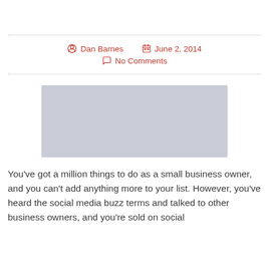Dan Barnes   June 2, 2014
No Comments
[Figure (photo): Gray placeholder image block]
You've got a million things to do as a small business owner, and you can't add anything more to your list. However, you've heard the social media buzz terms and talked to other business owners, and you're sold on social